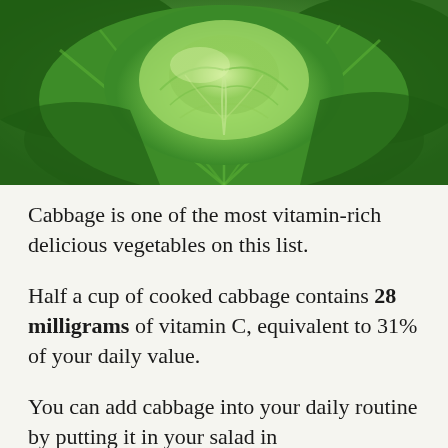[Figure (photo): Close-up photograph of a green cabbage head with large leafy outer leaves showing prominent veins, viewed from above in a garden setting.]
Cabbage is one of the most vitamin-rich delicious vegetables on this list.
Half a cup of cooked cabbage contains 28 milligrams of vitamin C, equivalent to 31% of your daily value.
You can add cabbage into your daily routine by putting it in your salad in